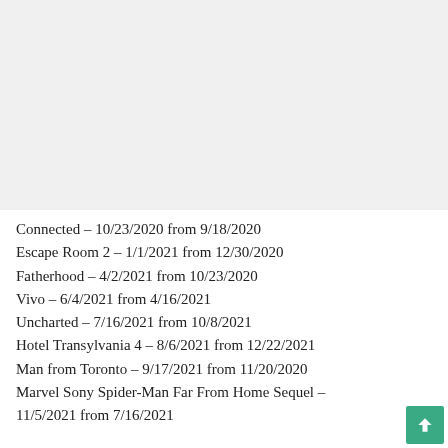[Figure (other): Gray placeholder image area at top of page]
Connected – 10/23/2020 from 9/18/2020
Escape Room 2 – 1/1/2021 from 12/30/2020
Fatherhood – 4/2/2021 from 10/23/2020
Vivo – 6/4/2021 from 4/16/2021
Uncharted – 7/16/2021 from 10/8/2021
Hotel Transylvania 4 – 8/6/2021 from 12/22/2021
Man from Toronto – 9/17/2021 from 11/20/2020
Marvel Sony Spider-Man Far From Home Sequel – 11/5/2021 from 7/16/2021